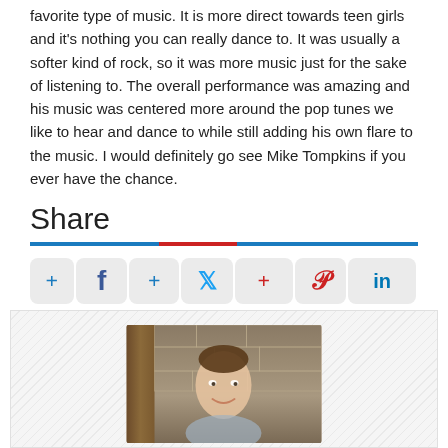favorite type of music. It is more direct towards teen girls and it's nothing you can really dance to. It was usually a softer kind of rock, so it was more music just for the sake of listening to. The overall performance was amazing and his music was centered more around the pop tunes we like to hear and dance to while still adding his own flare to the music. I would definitely go see Mike Tompkins if you ever have the chance.
Share
[Figure (infographic): Social share buttons: Facebook, Twitter, Pinterest, LinkedIn with plus icons and divider bar]
[Figure (photo): Author photo: young man smiling in front of stone wall and wooden panel background]